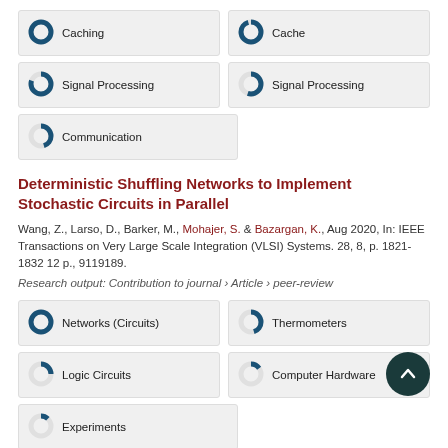[Figure (infographic): Keyword badges with donut chart icons: Caching ~100%, Cache ~95%, Signal Processing ~80%, Signal Processing ~55%, Communication ~45%]
Deterministic Shuffling Networks to Implement Stochastic Circuits in Parallel
Wang, Z., Larso, D., Barker, M., Mohajer, S. & Bazargan, K., Aug 2020, In: IEEE Transactions on Very Large Scale Integration (VLSI) Systems. 28, 8, p. 1821-1832 12 p., 9119189.
Research output: Contribution to journal › Article › peer-review
[Figure (infographic): Keyword badges with donut chart icons: Networks (Circuits) ~100%, Thermometers ~45%, Logic Circuits ~25%, Computer Hardware ~15%, Experiments ~12%]
Joint resource allocation and routing for service function chaining with in-subnetwork processing